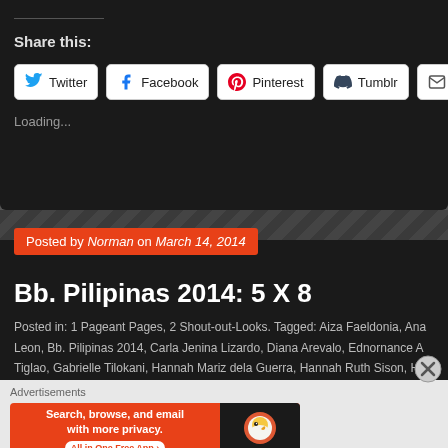Share this:
Twitter | Facebook | Pinterest | Tumblr | Email
Loading...
Posted by Norman on March 14, 2014
Bb. Pilipinas 2014: 5 X 8
Posted in: 1 Pageant Pages, 2 Shout-out-Looks. Tagged: Aiza Faeldonia, Ana Leon, Bb. Pilipinas 2014, Carla Jenina Lizardo, Diana Arevalo, Ednornance A Tiglao, Gabrielle Tilokani, Hannah Mariz dela Guerra, Hannah Ruth Sison, Ha Jeslyn Santos, Joana Angelica Romero, Joy Antonette Diaz, Joy Marie C
Advertisements
[Figure (infographic): DuckDuckGo advertisement banner: 'Search, browse, and email with more privacy. All in One Free App' with DuckDuckGo logo on dark right panel]